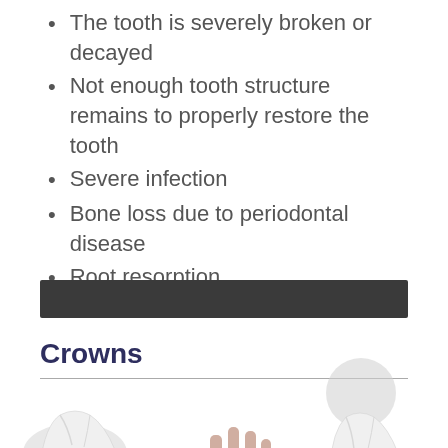The tooth is severely broken or decayed
Not enough tooth structure remains to properly restore the tooth
Severe infection
Bone loss due to periodontal disease
Root resorption
Crowns
[Figure (photo): Two dental crown images — one standalone white ceramic crown (left) and one crown being held by fingers near a natural tooth (right)]